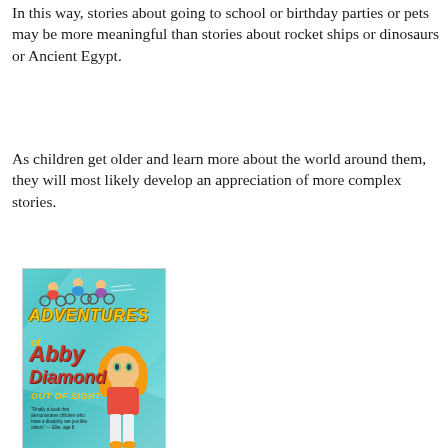In this way, stories about going to school or birthday parties or pets may be more meaningful than stories about rocket ships or dinosaurs or Ancient Egypt.
As children get older and learn more about the world around them, they will most likely develop an appreciation of more complex stories.
[Figure (illustration): Book cover of 'Adventures of Abby Diamond: Out of Sight' by Kristie Smith-Armand, Med, CVI. Teal/mint colored cover with cartoon girl with blonde hair in red jacket and white pants, cartoon children on bikes at top, yellow stylized title text.]